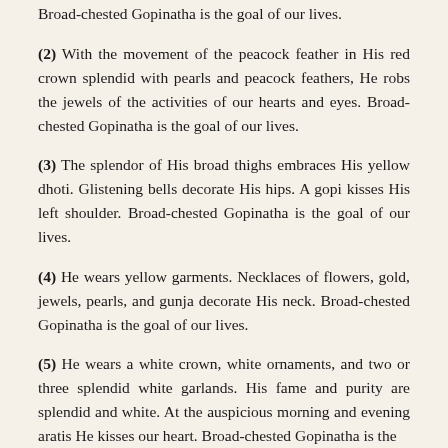Broad-chested Gopinatha is the goal of our lives.
(2) With the movement of the peacock feather in His red crown splendid with pearls and peacock feathers, He robs the jewels of the activities of our hearts and eyes. Broad-chested Gopinatha is the goal of our lives.
(3) The splendor of His broad thighs embraces His yellow dhoti. Glistening bells decorate His hips. A gopi kisses His left shoulder. Broad-chested Gopinatha is the goal of our lives.
(4) He wears yellow garments. Necklaces of flowers, gold, jewels, pearls, and gunja decorate His neck. Broad-chested Gopinatha is the goal of our lives.
(5) He wears a white crown, white ornaments, and two or three splendid white garlands. His fame and purity are splendid and white. At the auspicious morning and evening aratis He kisses our heart. Broad-chested Gopinatha is the goal of our lives.